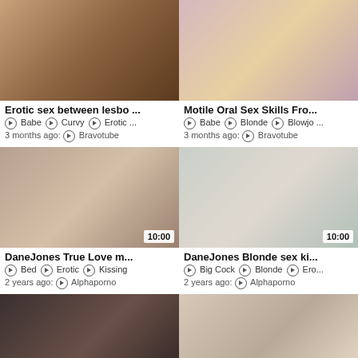[Figure (screenshot): Video thumbnail grid showing adult video website with 6 video cards in 2-column layout]
Erotic sex between lesbo ...
Babe · Curvy · Erotic ...
3 months ago: Bravotube
Motile Oral Sex Skills Fro...
Babe · Blonde · Blowjo ...
3 months ago: Bravotube
DaneJones True Love m...
Bed · Erotic · Kissing
2 years ago: Alphaporno
DaneJones Blonde sex ki...
Big Cock · Blonde · Ero...
2 years ago: Alphaporno